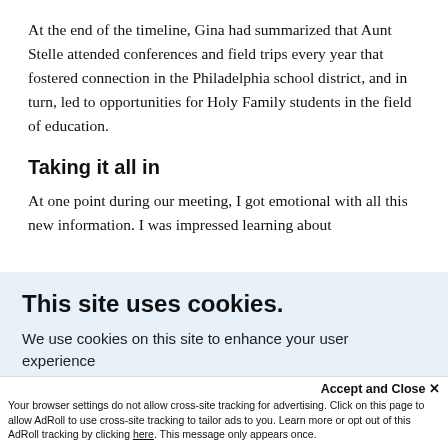At the end of the timeline, Gina had summarized that Aunt Stelle attended conferences and field trips every year that fostered connection in the Philadelphia school district, and in turn, led to opportunities for Holy Family students in the field of education.
Taking it all in
At one point during our meeting, I got emotional with all this new information. I was impressed learning about
This site uses cookies.
We use cookies on this site to enhance your user experience
Accept and Close ×
Your browser settings do not allow cross-site tracking for advertising. Click on this page to allow AdRoll to use cross-site tracking to tailor ads to you. Learn more or opt out of this AdRoll tracking by clicking here. This message only appears once.